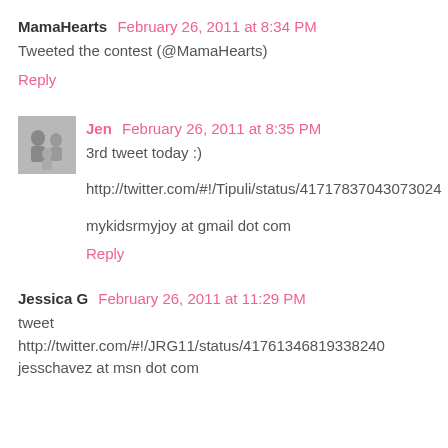MamaHearts  February 26, 2011 at 8:34 PM
Tweeted the contest (@MamaHearts)
Reply
Jen  February 26, 2011 at 8:35 PM
3rd tweet today :)
http://twitter.com/#!/Tipuli/status/41717837043073024
mykidsrmyjoy at gmail dot com
Reply
Jessica G  February 26, 2011 at 11:29 PM
tweet http://twitter.com/#!/JRG11/status/41761346819338240 jesschavez at msn dot com